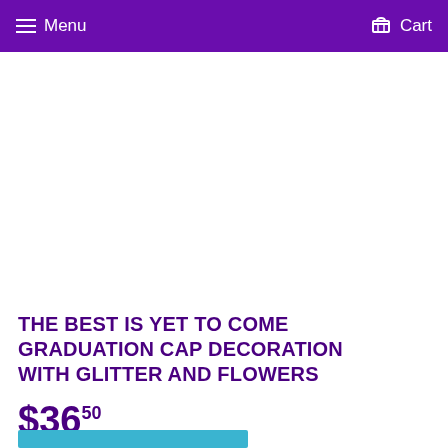Menu  Cart
THE BEST IS YET TO COME GRADUATION CAP DECORATION WITH GLITTER AND FLOWERS
$36.50